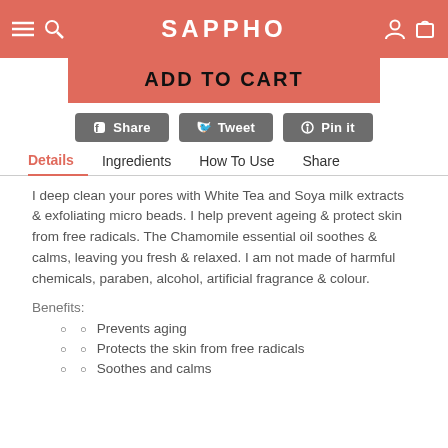SAPPHO
ADD TO CART
Share  Tweet  Pin it
Details  Ingredients  How To Use  Share
I deep clean your pores with White Tea and Soya milk extracts & exfoliating micro beads. I help prevent ageing & protect skin from free radicals. The Chamomile essential oil soothes & calms, leaving you fresh & relaxed. I am not made of harmful chemicals, paraben, alcohol, artificial fragrance & colour.
Benefits:
Prevents aging
Protects the skin from free radicals
Soothes and calms